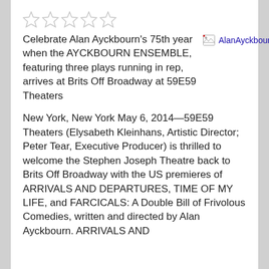[Figure (other): Five star rating icons (all light gray/unfilled stars)]
Celebrate Alan Ayckbourn's 75th year when the AYCKBOURN ENSEMBLE, featuring three plays running in rep, arrives at Brits Off Broadway at 59E59 Theaters
[Figure (photo): Broken image placeholder labeled AlanAyckbourn2a]
New York, New York May 6, 2014—59E59 Theaters (Elysabeth Kleinhans, Artistic Director; Peter Tear, Executive Producer) is thrilled to welcome the Stephen Joseph Theatre back to Brits Off Broadway with the US premieres of ARRIVALS AND DEPARTURES, TIME OF MY LIFE, and FARCICALS: A Double Bill of Frivolous Comedies, written and directed by Alan Ayckbourn. ARRIVALS AND